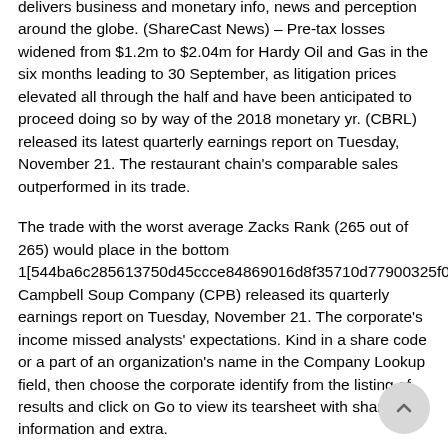delivers business and monetary info, news and perception around the globe. (ShareCast News) – Pre-tax losses widened from $1.2m to $2.04m for Hardy Oil and Gas in the six months leading to 30 September, as litigation prices elevated all through the half and have been anticipated to proceed doing so by way of the 2018 monetary yr. (CBRL) released its latest quarterly earnings report on Tuesday, November 21. The restaurant chain's comparable sales outperformed in its trade.
The trade with the worst average Zacks Rank (265 out of 265) would place in the bottom 1[544ba6c285613750d45ccce84869016d8f35710d77900325f0ed Campbell Soup Company (CPB) released its quarterly earnings report on Tuesday, November 21. The corporate's income missed analysts' expectations. Kind in a share code or a part of an organization's name in the Company Lookup field, then choose the corporate identify from the listing of results and click on Go to view its tearsheet with share data, information and extra.